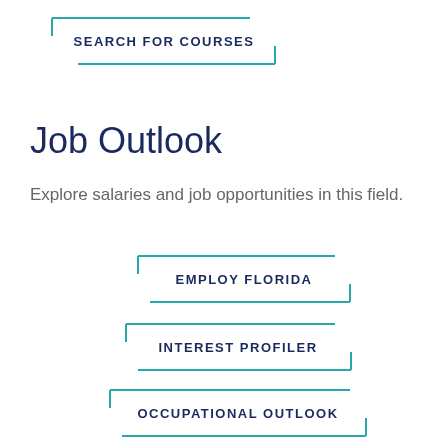[Figure (other): SEARCH FOR COURSES button with teal corner bracket decoration]
Job Outlook
Explore salaries and job opportunities in this field.
[Figure (other): EMPLOY FLORIDA button with teal corner bracket decoration]
[Figure (other): INTEREST PROFILER button with teal corner bracket decoration]
[Figure (other): OCCUPATIONAL OUTLOOK button with teal corner bracket decoration]
Connect with...